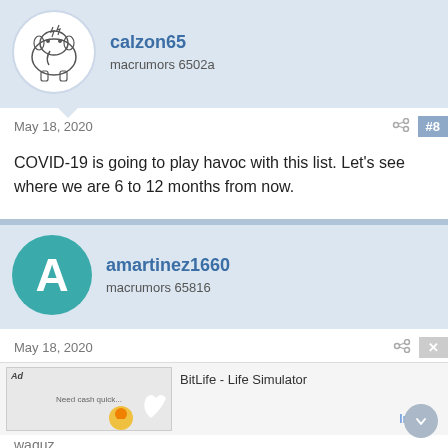calzon65
macrumors 6502a
May 18, 2020
#8
COVID-19 is going to play havoc with this list. Let's see where we are 6 to 12 months from now.
amartinez1660
macrumors 65816
May 18, 2020
BitLife - Life Simulator
Install!